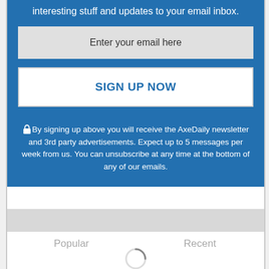interesting stuff and updates to your email inbox.
Enter your email here
SIGN UP NOW
🔒 By signing up above you will receive the AxeDaily newsletter and 3rd party advertisements. Expect up to 5 messages per week from us. You can unsubscribe at any time at the bottom of any of our emails.
Popular
Recent